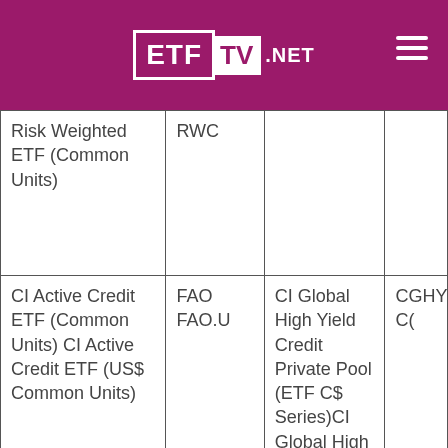ETF TV .NET
| Risk Weighted ETF (Common Units) | RWC |  |  |
| CI Active Credit ETF (Common Units) CI Active Credit ETF (US$ Common Units) | FAO FAO.U | CI Global High Yield Credit Private Pool (ETF C$ Series)CI Global High Yield Credit Private Pool (ETF US$ | CGHY C( |